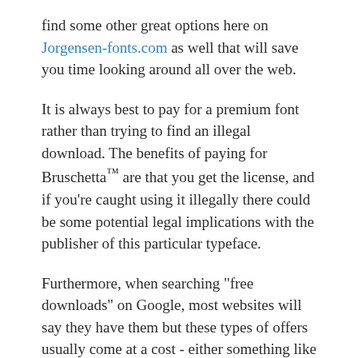find some other great options here on Jorgensen-fonts.com as well that will save you time looking around all over the web.
It is always best to pay for a premium font rather than trying to find an illegal download. The benefits of paying for Bruschetta™ are that you get the license, and if you're caught using it illegally there could be some potential legal implications with the publisher of this particular typeface.
Furthermore, when searching "free downloads" on Google, most websites will say they have them but these types of offers usually come at a cost - either something like high-pressure sales tactics or getting tricked into downloading malware onto your computer by malicious third parties who want